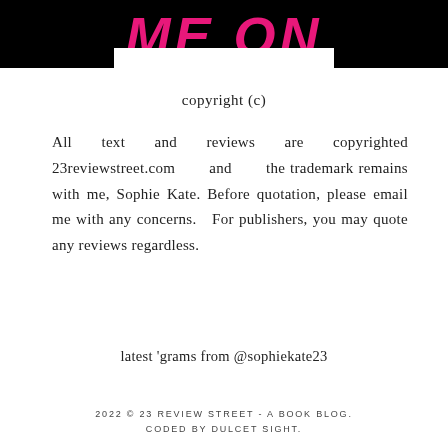[Figure (illustration): Top banner with black background and large bold pink/magenta italic text reading 'ME ON' with a white rectangular block at the bottom center of the banner.]
copyright (c)
All text and reviews are copyrighted 23reviewstreet.com and the trademark remains with me, Sophie Kate. Before quotation, please email me with any concerns. For publishers, you may quote any reviews regardless.
latest 'grams from @sophiekate23
2022 © 23 REVIEW STREET - A BOOK BLOG. CODED BY DULCET SIGHT.